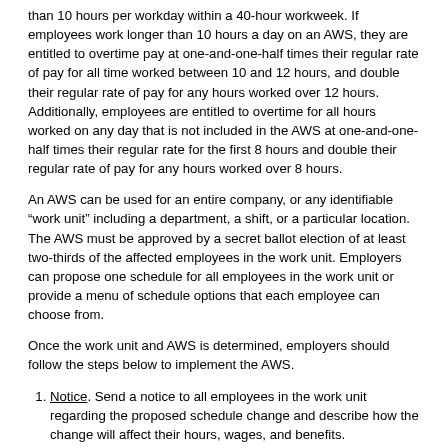than 10 hours per workday within a 40-hour workweek. If employees work longer than 10 hours a day on an AWS, they are entitled to overtime pay at one-and-one-half times their regular rate of pay for all time worked between 10 and 12 hours, and double their regular rate of pay for any hours worked over 12 hours. Additionally, employees are entitled to overtime for all hours worked on any day that is not included in the AWS at one-and-one-half times their regular rate for the first 8 hours and double their regular rate of pay for any hours worked over 8 hours.
An AWS can be used for an entire company, or any identifiable “work unit” including a department, a shift, or a particular location. The AWS must be approved by a secret ballot election of at least two-thirds of the affected employees in the work unit. Employers can propose one schedule for all employees in the work unit or provide a menu of schedule options that each employee can choose from.
Once the work unit and AWS is determined, employers should follow the steps below to implement the AWS.
Notice. Send a notice to all employees in the work unit regarding the proposed schedule change and describe how the change will affect their hours, wages, and benefits.
Pre-Election Meeting and Disclosure. Employers are required to hold a pre-election meeting at least 14 days before the secret ballot election to discuss the proposed alternative workweek schedule. Employers must also provide all employees with a written disclosure that includes the information discussed at the meeting. If at least 5% of the employees in the work unit speak a language other than English, employers must